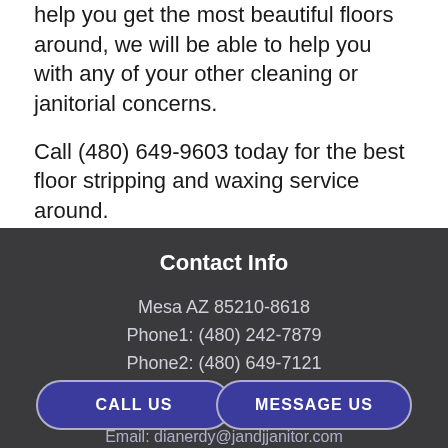help you get the most beautiful floors around, we will be able to help you with any of your other cleaning or janitorial concerns.
Call (480) 649-9603 today for the best floor stripping and waxing service around.
Contact Info
Mesa AZ 85210-8618
Phone1: (480) 242-7879
Phone2: (480) 649-7121
CALL US
MESSAGE US
Email: dianerdy@jandjjanitor.com